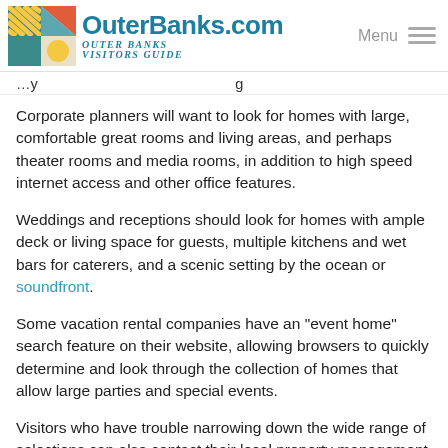OuterBanks.com Visitors Guide
Corporate planners will want to look for homes with large, comfortable great rooms and living areas, and perhaps theater rooms and media rooms, in addition to high speed internet access and other office features.
Weddings and receptions should look for homes with ample deck or living space for guests, multiple kitchens and wet bars for caterers, and a scenic setting by the ocean or soundfront.
Some vacation rental companies have an "event home" search feature on their website, allowing browsers to quickly determine and look through the collection of homes that allow large parties and special events.
Visitors who have trouble narrowing down the wide range of selections can also contact their local property management